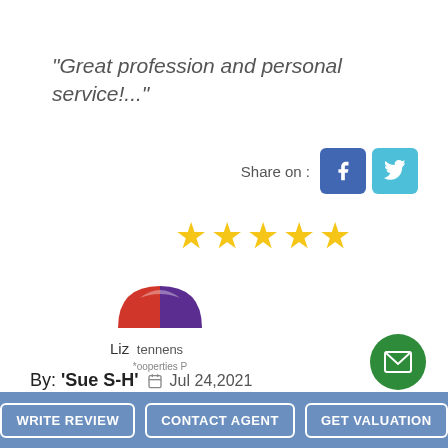“Great profession and personal service!...”
[Figure (infographic): Share on Facebook and Twitter buttons]
[Figure (infographic): Five gold stars rating]
[Figure (logo): Tennens Properties logo with red and purple arch graphic, text 'tennens *ooperties P']
Liz
By: 'Sue S-H'  Jul 24,2021
Branch: Bury St Edmunds, 1a Lawson Place
Sales (as a Vendor)
Sold price: £215000
Postcode: IP32
[Figure (infographic): Green circular email/envelope button]
WRITE REVIEW   CONTACT AGENT   GET VALUATION